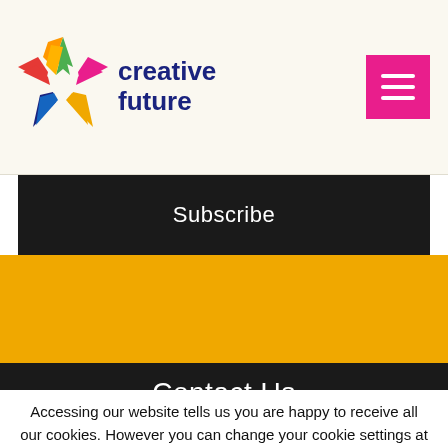[Figure (logo): Creative Future colorful star logo with multi-colored points (green, pink, yellow, blue, red) and the text 'creative future' in dark navy bold font]
Subscribe
Contact Us
Accessing our website tells us you are happy to receive all our cookies. However you can change your cookie settings at any time.
ACCEPT
Read More